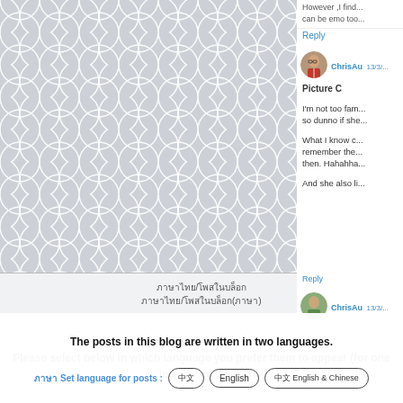[Figure (illustration): Decorative fish-scale / scallop pattern background in grey and white, filling the left two-thirds of the upper portion of the page.]
However ,I find... can be emo too...
Reply
ChrisAu  13/3/...
Picture C
I'm not too fam... so dunno if she...
What I know c... remember the... then. Hahahha...
And she also li...
Reply
ChrisAu  13/3/...
Ooohh... The...
ภาษาไทย/โพสในบล็อก
ภาษาไทย/โพสในบล็อก(ภาษา)
The posts in this blog are written in two languages.
Please select below in which language you prefer them to appear (for one initial time only).
ภาษา Set language for posts :
中文
English
中文 English & Chinese